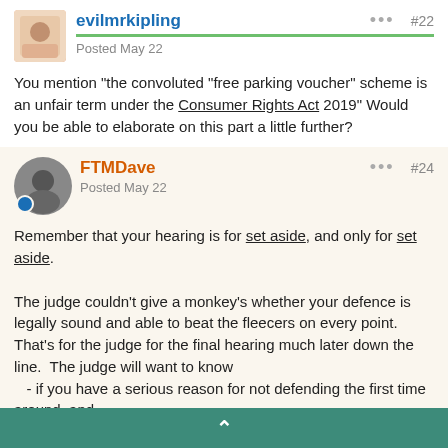evilmrkipling
Posted May 22
#22
You mention "the convoluted "free parking voucher" scheme is an unfair term under the Consumer Rights Act 2019" Would you be able to elaborate on this part a little further?
FTMDave
Posted May 22
#24
Remember that your hearing is for set aside, and only for set aside.
The judge couldn't give a monkey's whether your defence is legally sound and able to beat the fleecers on every point.  That's for the judge for the final hearing much later down the line.  The judge will want to know
   - if you have a serious reason for not defending the first time around, and